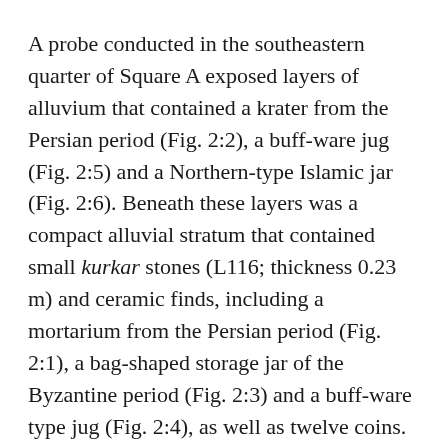A probe conducted in the southeastern quarter of Square A exposed layers of alluvium that contained a krater from the Persian period (Fig. 2:2), a buff-ware jug (Fig. 2:5) and a Northern-type Islamic jar (Fig. 2:6). Beneath these layers was a compact alluvial stratum that contained small kurkar stones (L116; thickness 0.23 m) and ceramic finds, including a mortarium from the Persian period (Fig. 2:1), a bag-shaped storage jar of the Byzantine period (Fig. 2:3) and a buff-ware type jug (Fig. 2:4), as well as twelve coins. The surface layer contained modern refuse mixed with Marseilles rooftiles, fragments of Gaza Ware,